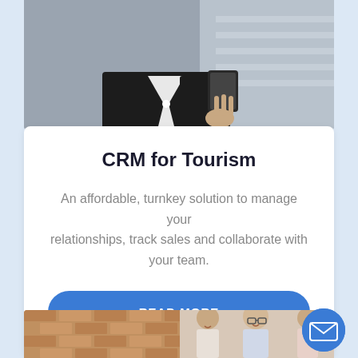[Figure (photo): Person in dark jacket holding a tablet, viewed from chest level, light background]
CRM for Tourism
An affordable, turnkey solution to manage your relationships, track sales and collaborate with your team.
READ MORE
[Figure (photo): Group of people collaborating in a meeting, brick wall background, man with glasses smiling]